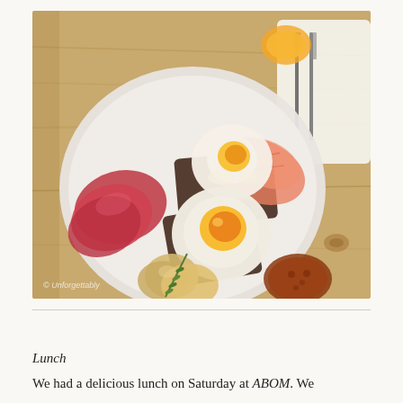[Figure (photo): A plate of food on a wooden table featuring two fried eggs on dark toast, sliced ham/bacon, roasted potatoes with rosemary, smoked salmon, and a dollop of chutney/relish. Cutlery and a glass of orange juice visible in the background. A watermark reads '© Unforgettably' in the bottom left corner.]
Lunch
We had a delicious lunch on Saturday at ABOM. We